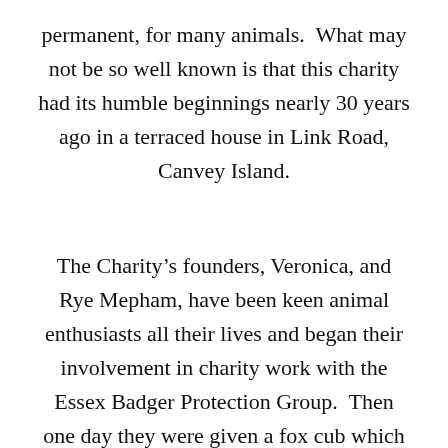permanent, for many animals.  What may not be so well known is that this charity had its humble beginnings nearly 30 years ago in a terraced house in Link Road, Canvey Island.

The Charity's founders, Veronica, and Rye Mepham, have been keen animal enthusiasts all their lives and began their involvement in charity work with the Essex Badger Protection Group.  Then one day they were given a fox cub which had been found by someone's dog.  The fox (named Bonnie by a Scottish vet who administered to her) had epilepsy and needed medical attention and a permanent place to live.  Veronica and Rye tried to find a sanctuary